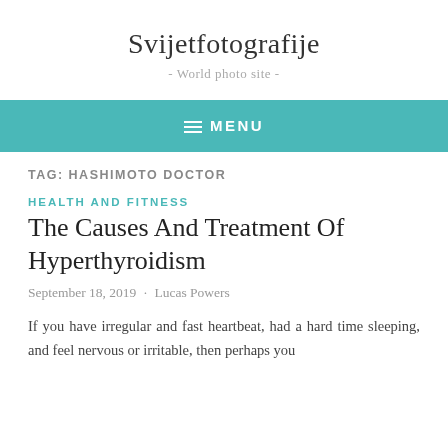Svijetfotografije
- World photo site -
MENU
TAG: HASHIMOTO DOCTOR
HEALTH AND FITNESS
The Causes And Treatment Of Hyperthyroidism
September 18, 2019   Lucas Powers
If you have irregular and fast heartbeat, had a hard time sleeping, and feel nervous or irritable, then perhaps you